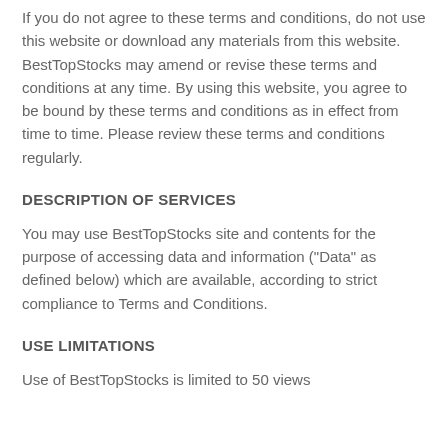If you do not agree to these terms and conditions, do not use this website or download any materials from this website. BestTopStocks may amend or revise these terms and conditions at any time. By using this website, you agree to be bound by these terms and conditions as in effect from time to time. Please review these terms and conditions regularly.
DESCRIPTION OF SERVICES
You may use BestTopStocks site and contents for the purpose of accessing data and information ("Data" as defined below) which are available, according to strict compliance to Terms and Conditions.
USE LIMITATIONS
Use of BestTopStocks is limited to 50 views